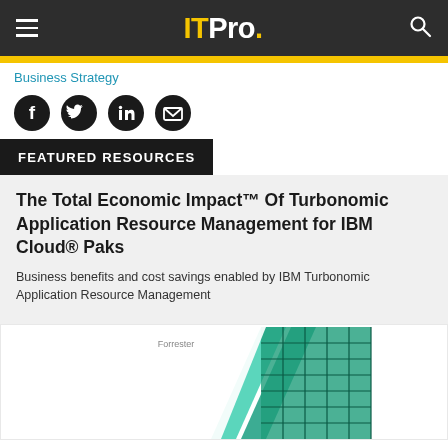IT Pro.
Business Strategy
[Figure (other): Social share icons: Facebook, Twitter, LinkedIn, Email]
FEATURED RESOURCES
The Total Economic Impact™ Of Turbonomic Application Resource Management for IBM Cloud® Paks
Business benefits and cost savings enabled by IBM Turbonomic Application Resource Management
[Figure (illustration): Book/report cover image with teal/green geometric grid pattern on a white background, labeled 'Forrester' at top]